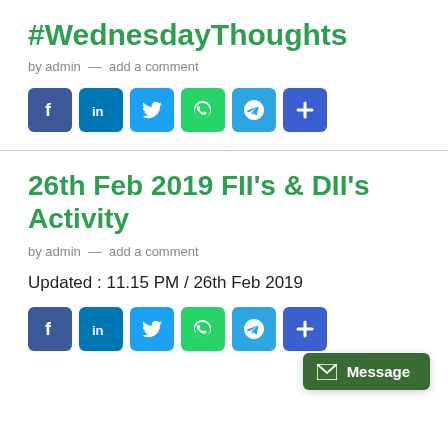#WednesdayThoughts
by admin — add a comment
[Figure (infographic): Row of social sharing icons: Facebook, LinkedIn, Twitter, WhatsApp, Telegram, Share (plus)]
26th Feb 2019 FII's & DII's Activity
by admin — add a comment
Updated : 11.15 PM / 26th Feb 2019
[Figure (infographic): Row of social sharing icons: Facebook, LinkedIn, Twitter, WhatsApp, Telegram, Share (plus)]
Message